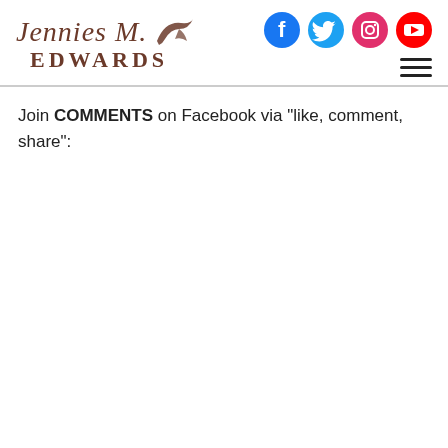Jennies M. Edwards
Join COMMENTS on Facebook via "like, comment, share":